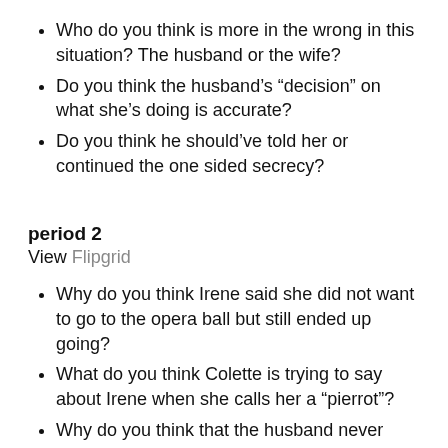Who do you think is more in the wrong in this situation? The husband or the wife?
Do you think the husband’s “decision” on what she’s doing is accurate?
Do you think he should’ve told her or continued the one sided secrecy?
period 2
View Flipgrid
Why do you think Irene said she did not want to go to the opera ball but still ended up going?
What do you think Colette is trying to say about Irene when she calls her a “pierrot”?
Why do you think that the husband never